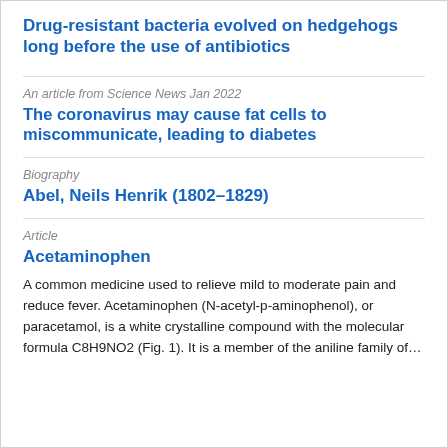Drug-resistant bacteria evolved on hedgehogs long before the use of antibiotics
An article from Science News Jan 2022
The coronavirus may cause fat cells to miscommunicate, leading to diabetes
Biography
Abel, Neils Henrik (1802–1829)
Article
Acetaminophen
A common medicine used to relieve mild to moderate pain and reduce fever. Acetaminophen (N-acetyl-p-aminophenol), or paracetamol, is a white crystalline compound with the molecular formula C8H9NO2 (Fig. 1). It is a member of the aniline family of…